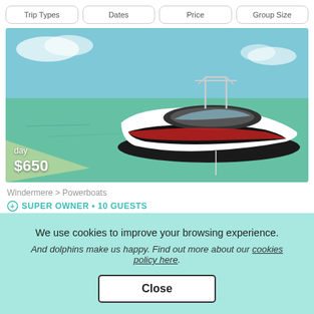Trip Types   Dates   Price   Group Size
[Figure (photo): A black and white speedboat/powerboat anchored in shallow turquoise-green coastal waters on a sunny day. The boat has a wake tower and is moored near a sandy shore. Price overlay shows 'day $650'.]
Windermere > Powerboats
SUPER OWNER • 10 GUESTS
We use cookies to improve your browsing experience.
And dolphins make us happy. Find out more about our cookies policy here.
Close